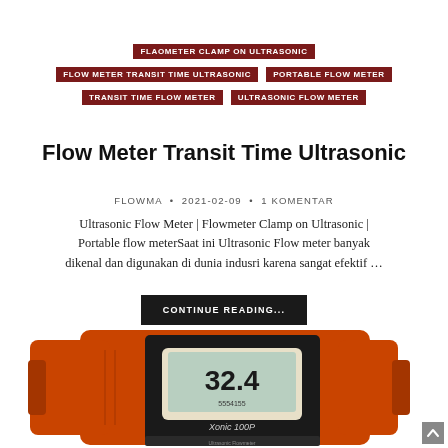FLAOMETER CLAMP ON ULTRASONIC
FLOW METER TRANSIT TIME ULTRASONIC
PORTABLE FLOW METER
TRANSIT TIME FLOW METER
ULTRASONIC FLOW METER
Flow Meter Transit Time Ultrasonic
FLOWMA • 2021-02-09 • 1 KOMENTAR
Ultrasonic Flow Meter | Flowmeter Clamp on Ultrasonic | Portable flow meterSaat ini Ultrasonic Flow meter banyak dikenal dan digunakan di dunia indusri karena sangat efektif …
CONTINUE READING...
[Figure (photo): Orange portable flow meter device (Xonic 100P) open case showing LCD display reading 32.4]